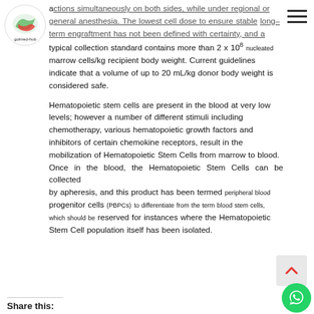[Figure (logo): Golmed Hub logo - circular logo with red/green graphic on white background]
actions simultaneously on both sides, while under regional or general anesthesia. The lowest cell dose to ensure stable long-term engraftment has not been defined with certainty, and a typical collection standard contains more than 2 x 10⁸ nucleated marrow cells/kg recipient body weight. Current guidelines indicate that a volume of up to 20 mL/kg donor body weight is considered safe.
Hematopoietic stem cells are present in the blood at very low levels; however a number of different stimuli including chemotherapy, various hematopoietic growth factors and inhibitors of certain chemokine receptors, result in the mobilization of Hematopoietic Stem Cells from marrow to blood. Once in the blood, the Hematopoietic Stem Cells can be collected by apheresis, and this product has been termed peripheral blood progenitor cells (PBPCs) to differentiate from the term blood stem cells, which should be reserved for instances where the Hematopoietic Stem Cell population itself has been isolated.
Share this: